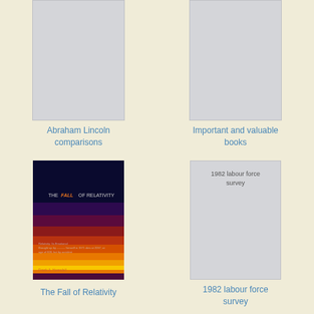[Figure (illustration): Book cover placeholder - gray rectangle for Abraham Lincoln comparisons]
Abraham Lincoln comparisons
[Figure (illustration): Book cover placeholder - gray rectangle for Important and valuable books]
Important and valuable books
[Figure (illustration): Book cover for The Fall of Relativity - dark navy background with horizontal color gradient bands from purple through red orange yellow]
The Fall of Relativity
[Figure (illustration): Book cover placeholder - gray rectangle with text '1982 labour force survey']
1982 labour force survey